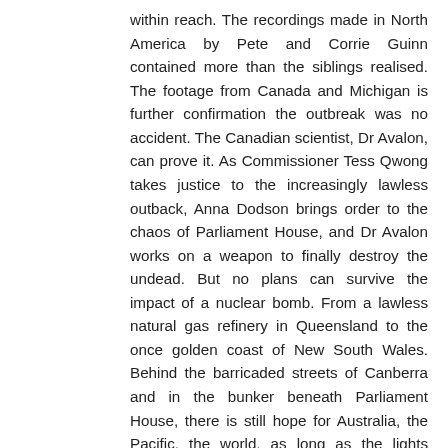within reach. The recordings made in North America by Pete and Corrie Guinn contained more than the siblings realised. The footage from Canada and Michigan is further confirmation the outbreak was no accident. The Canadian scientist, Dr Avalon, can prove it. As Commissioner Tess Qwong takes justice to the increasingly lawless outback, Anna Dodson brings order to the chaos of Parliament House, and Dr Avalon works on a weapon to finally destroy the undead. But no plans can survive the impact of a nuclear bomb. From a lawless natural gas refinery in Queensland to the once golden coast of New South Wales. Behind the barricaded streets of Canberra and in the bunker beneath Parliament House, there is still hope for Australia, the Pacific, the world, as long as the lights remain on.